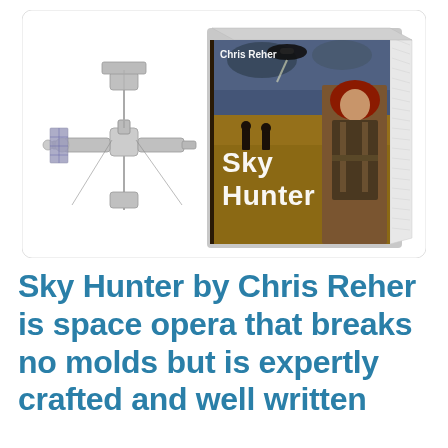[Figure (illustration): A composite image showing a silver metallic space station model on the left overlapping a book cover. The book cover shows 'Sky Hunter' by Chris Reher, featuring a red-haired woman in armor, dark silhouetted figures, a desert landscape, and a spacecraft in a dramatic sky. The book is shown in 3D perspective with visible spine and pages. The whole image has a white rounded-rectangle background.]
Sky Hunter by Chris Reher is space opera that breaks no molds but is expertly crafted and well written